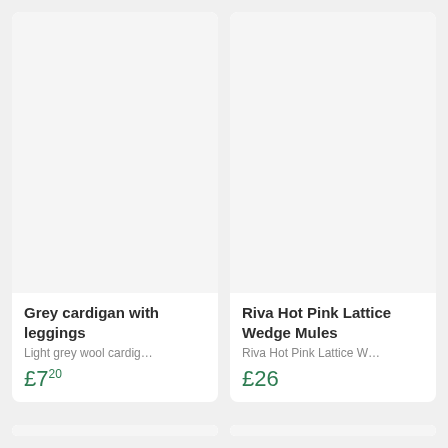Grey cardigan with leggings
Light grey wool cardig...
£7 20
Riva Hot Pink Lattice Wedge Mules
Riva Hot Pink Lattice W...
£26
[Figure (other): Bottom-left product card image area (empty/placeholder)]
[Figure (other): Bottom-right product card image area (empty/placeholder)]